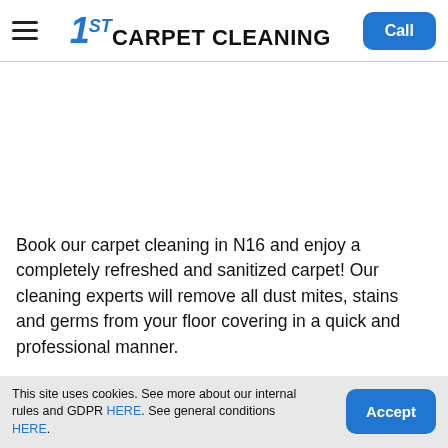1ST CARPET CLEANING — navigation bar with hamburger menu, logo, and Call button
[Figure (other): White/blank image area below navigation bar]
Book our carpet cleaning in N16 and enjoy a completely refreshed and sanitized carpet! Our cleaning experts will remove all dust mites, stains and germs from your floor covering in a quick and professional manner.
This site uses cookies. See more about our internal rules and GDPR HERE. See general conditions HERE.